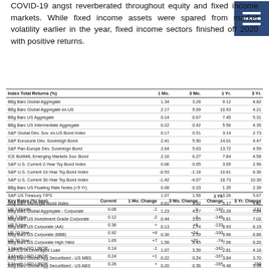COVID-19 angst reverberated throughout equity and fixed income markets. While fixed income assets were spared from market volatility earlier in the year, fixed income sectors finished off 2020 with positive returns.
| Index Total Returns (%) | 1 Mo. | 3 Mo. | 1 Yr. | 3 Yr. |
| --- | --- | --- | --- | --- |
| BBg Barc Global Aggregate | 1.34 | 3.28 | 9.12 | 4.82 |
| BBg Barc Global Aggregate ex-US | 2.17 | 5.09 | 10.93 | 4.21 |
| BBg Barc US Aggregate | 0.14 | 0.67 | 7.45 | 5.31 |
| BBg Barc US Intermediate Aggregate | 0.22 | 0.42 | 5.56 | 4.35 |
| S&P Global Dev. Sov. ex-US Bond Index | 0.17 | 0.51 | 3.14 | 2.73 |
| S&P Eurozone Dev. Sovereign Bond | 2.41 | 5.90 | 14.01 | 4.47 |
| S&P Pan-Europe Dev. Sovereign Bond | 2.64 | 5.63 | 13.72 | 4.59 |
| ICE BofAML Emerging Markets Sov. Bond | 2.16 | 6.27 | 7.84 | 4.58 |
| S&P U.S. Current 2-Year Tsy Bond Index | 0.06 | 0.05 | 3.05 | 2.56 |
| S&P U.S. Current 10-Year Tsy Bond Index | -0.53 | -1.18 | 10.61 | 6.36 |
| S&P U.S. Current 30-Year Tsy Bond Index | -1.42 | -4.07 | 18.73 | 10.30 |
| BBg Barc US Floating Rate Notes (<5 Yr) | 0.08 | 0.33 | 1.35 | 2.39 |
| S&P US Treasury TIPS | 1.07 | 1.58 | 10.26 | 5.67 |
| BBg Barc Municipal Bond Index | 0.61 | 1.82 | 5.17 | 4.62 |
| BBg Barc Global Aggregate - Corporate | 1.23 | 4.27 | 10.28 | 5.84 |
| BBg Barc US Investment Grade Corporate | 0.44 | 3.05 | 9.81 | 7.02 |
| BBg Barc US Corporate (AA) | 0.13 | 1.74 | 8.93 | 6.19 |
| BBg Barc US Corporate (BBB) | 0.30 | 2.59 | 9.96 | 6.86 |
| BBg Barc US Corporate High Yield | 1.58 | 6.45 | 7.06 | 6.20 |
| S&P/LSTA Leveraged Loan | 1.07 | 3.39 | 2.81 | 4.16 |
| BBg Barc Global Agg Securitized - US MBS | 0.22 | 0.24 | 3.84 | 3.70 |
| BBg Barc Global Agg Securitized - US ABS | 0.20 | 0.36 | 4.48 | 3.58 |
| Key Rates (%/ bps) | Current | 1 Mo. Change | 3 Mo. Change | 1 Yr. Change | 3 Yr. Change |
| --- | --- | --- | --- | --- | --- |
| US 3 Month | 0.08 | -1 | -2 | -147 | -131 |
| US 2 Year | 0.12 | -2 | -2 | -146 |  |
| US 5 Year | 0.36 | + | +8 | -133 |  |
| US 10 Year | 0.92 | +8 | +24 | -100 |  |
| US 30 Year | 1.65 | +7 | +20 | -74 |  |
| 1 Month USD LIBOR | 0.14 | -1 | - | -162 |  |
| 3 Month USD LIBOR | 0.24 | +1 | - | -167 |  |
| 6 Month USD LIBOR | 0.26 | + | - | -165 | -158 |
| 12 Month USD LIBOR | 0.34 | +1 | -2 | -165 | -177 |